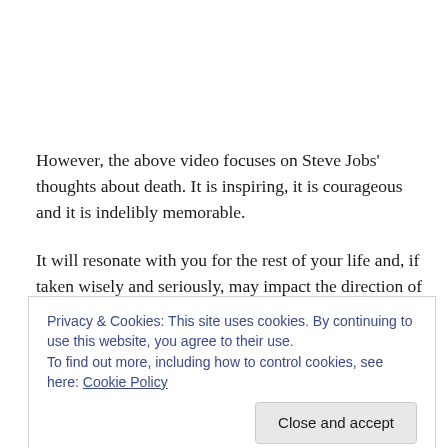However, the above video focuses on Steve Jobs' thoughts about death. It is inspiring, it is courageous and it is indelibly memorable.
It will resonate with you for the rest of your life and, if taken wisely and seriously, may impact the direction of your personal and professional decisions from hereon in.
Steve Jobs was a genius; however, more than that, he
[Figure (screenshot): Cookie consent banner: 'Privacy & Cookies: This site uses cookies. By continuing to use this website, you agree to their use. To find out more, including how to control cookies, see here: Cookie Policy' with a 'Close and accept' button.]
advancements we have come to enjoy because of Steve